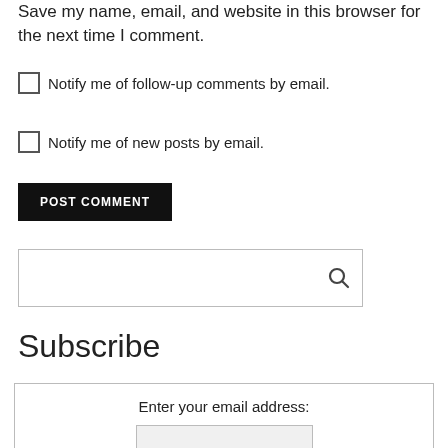Save my name, email, and website in this browser for the next time I comment.
Notify me of follow-up comments by email.
Notify me of new posts by email.
POST COMMENT
[Figure (other): Search input box with magnifying glass icon]
Subscribe
[Figure (other): Subscribe widget box with 'Enter your email address:' label, email input field, and a dark submit button]